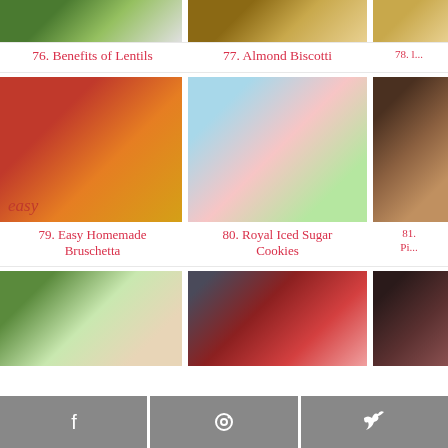[Figure (photo): Top partial view of lentils/green dish]
[Figure (photo): Top partial view of almond biscotti]
[Figure (photo): Top partial view of item 78]
76. Benefits of Lentils
77. Almond Biscotti
78. L...
[Figure (photo): Easy Homemade Bruschetta - toast with tomato topping]
[Figure (photo): Royal Iced Sugar Cookies - colorful decorated cookies]
[Figure (photo): Item 81 partial]
79. Easy Homemade Bruschetta
80. Royal Iced Sugar Cookies
81. Pi...
[Figure (photo): Salad with pomegranate]
[Figure (photo): Sugared cranberries close-up]
[Figure (photo): Item 83 partial dark]